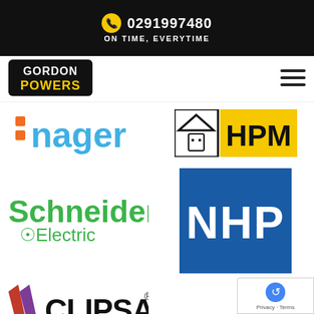0291997480 | ON TIME, EVERYTIME
[Figure (logo): Gordon Powers logo - black box with white text GORDON and yellow text POWERS]
[Figure (logo): Hamburger menu icon (three horizontal lines)]
[Figure (logo): Hager logo - blue text ':nager' with orange square dots]
[Figure (logo): HPM logo - house/power outlet icon with black border and yellow HPM text]
[Figure (logo): Schneider Electric logo - green text with SE leaf symbol]
[Figure (logo): NHP logo - white NHP text on blue square background]
[Figure (logo): Clipsal logo - red/purple diagonal stripes with black CLIPSAL text and registered trademark]
[Figure (logo): reCAPTCHA badge with Privacy and Terms links]